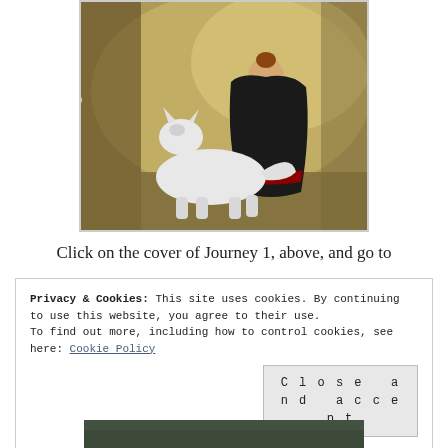[Figure (illustration): Book cover illustration showing a woman in a dark cloak/blanket from behind, with a white wolf howling beside her against a misty golden-brown landscape. Italic cursive text reads 'Teagan Riordain' on the left side of the cover.]
Click on the cover of Journey 1, above, and go to
Privacy & Cookies: This site uses cookies. By continuing to use this website, you agree to their use.
To find out more, including how to control cookies, see here: Cookie Policy
Close and accept
[Figure (photo): Partial view of another image at the bottom of the page, dark olive/green tones.]